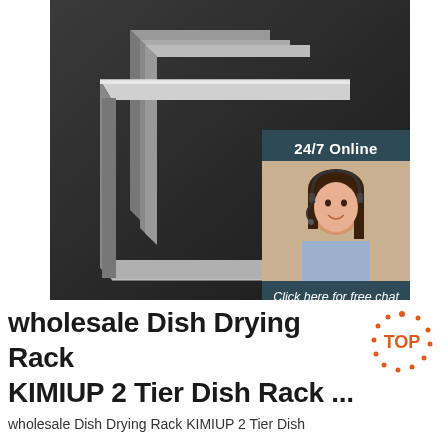[Figure (photo): Product photo of stainless steel angle bars/L-brackets stacked fanned out on dark background, with a 24/7 online chat overlay showing a female customer service representative wearing a headset, a 'Click here for free chat!' message, and an orange QUOTATION button]
wholesale Dish Drying Rack KIMIUP 2 Tier Dish Rack ...
wholesale Dish Drying Rack KIMIUP 2 Tier Dish